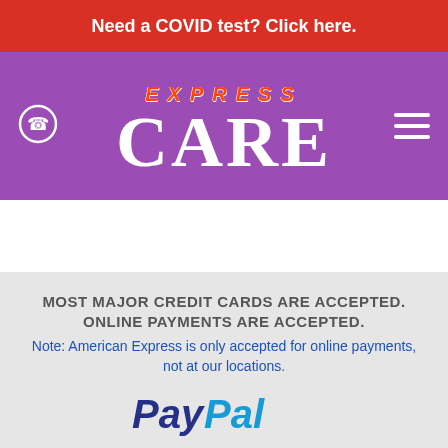Need a COVID test? Click here.
[Figure (logo): Express Care logo with purple navigation bar, phone icon and hamburger menu]
MOST MAJOR CREDIT CARDS ARE ACCEPTED.  ONLINE PAYMENTS ARE ACCEPTED.
Note: American Express is only accepted for online payments, not at our locations.
[Figure (logo): PayPal logo and credit card icons: MasterCard, Visa, American Express, Discover]
[Figure (logo): App Store and Google Play download badges]